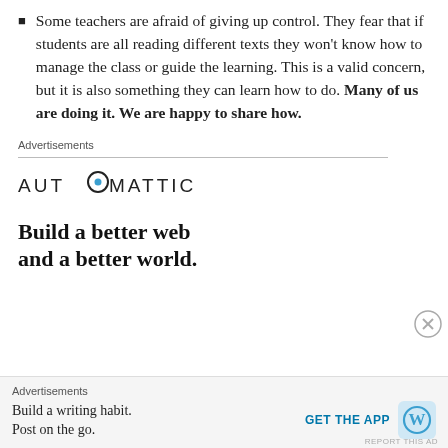Some teachers are afraid of giving up control. They fear that if students are all reading different texts they won't know how to manage the class or guide the learning. This is a valid concern, but it is also something they can learn how to do. Many of us are doing it. We are happy to share how.
Advertisements
[Figure (logo): AUTOMATTIC logo with circular symbol replacing the O]
Build a better web and a better world.
Advertisements
Build a writing habit. Post on the go.
GET THE APP